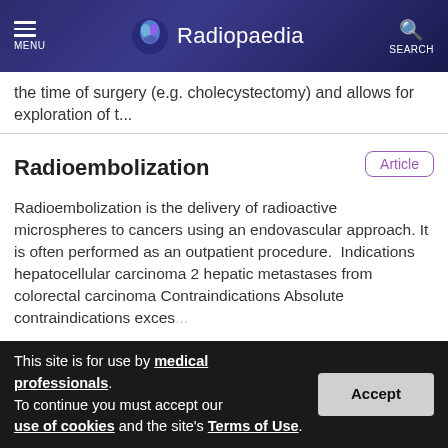Radiopaedia — MENU / SEARCH
the time of surgery (e.g. cholecystectomy) and allows for exploration of t...
Radioembolization
Radioembolization is the delivery of radioactive microspheres to cancers using an endovascular approach. It is often performed as an outpatient procedure.  Indications hepatocellular carcinoma 2 hepatic metastases from colorectal carcinoma Contraindications Absolute contraindications exces...
This site is for use by medical professionals. To continue you must accept our use of cookies and the site's Terms of Use.